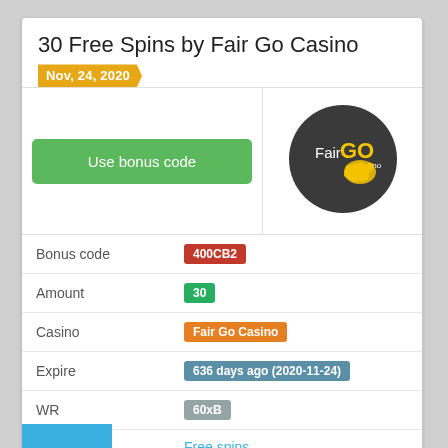30 Free Spins by Fair Go Casino
Nov, 24, 2020
Use bonus code
[Figure (logo): Fair Go Casino circular logo on dark background]
| Field | Value |
| --- | --- |
| Bonus code | 400CB2 |
| Amount | 30 |
| Casino | Fair Go Casino |
| Expire | 636 days ago (2020-11-24) |
| WR | 60xB |
| Category | Free spins |
Vote Up +0
Vote Down -0